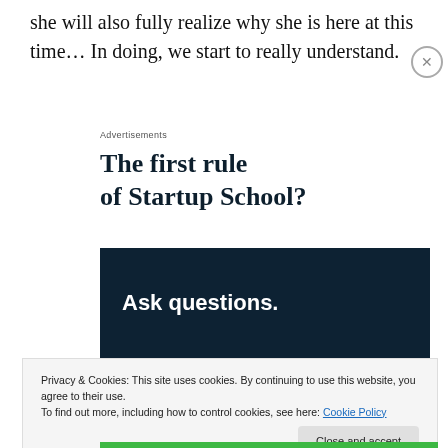she will also fully realize why she is here at this time… In doing, we start to really understand.
Advertisements
The first rule of Startup School?
[Figure (other): Dark navy blue banner with white bold text reading 'Ask questions.']
Privacy & Cookies: This site uses cookies. By continuing to use this website, you agree to their use.
To find out more, including how to control cookies, see here: Cookie Policy
Close and accept